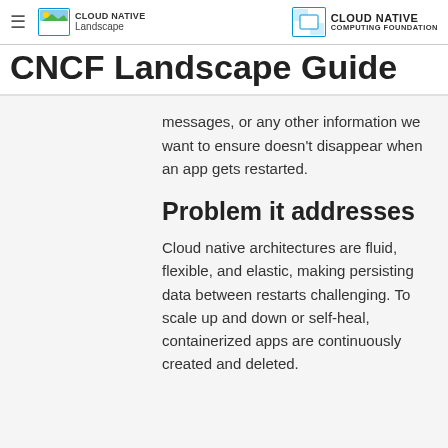Cloud Native Landscape | Cloud Native Computing Foundation
CNCF Landscape Guide
messages, or any other information we want to ensure doesn't disappear when an app gets restarted.
Problem it addresses
Cloud native architectures are fluid, flexible, and elastic, making persisting data between restarts challenging. To scale up and down or self-heal, containerized apps are continuously created and deleted.